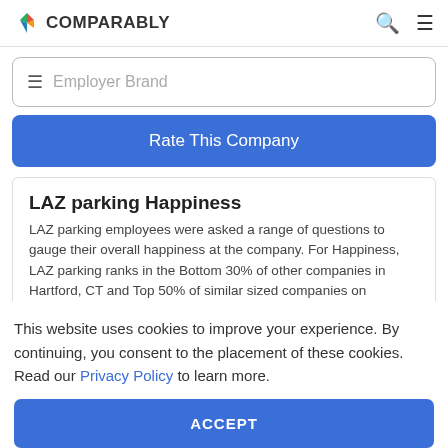COMPARABLY
Employer Brand
Rate This Company
LAZ parking Happiness
LAZ parking employees were asked a range of questions to gauge their overall happiness at the company. For Happiness, LAZ parking ranks in the Bottom 30% of other companies in Hartford, CT and Top 50% of similar sized companies on Comparably.
This website uses cookies to improve your experience. By continuing, you consent to the placement of these cookies. Read our Privacy Policy to learn more.
ACCEPT